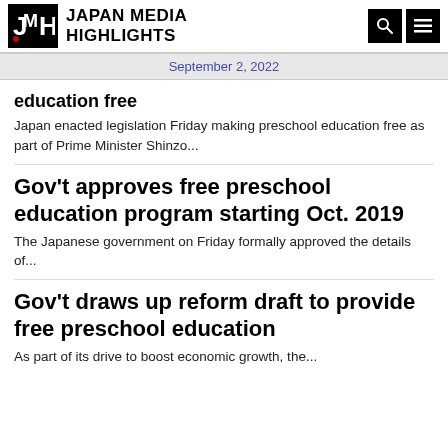JAPAN MEDIA HIGHLIGHTS
September 2, 2022
education free
Japan enacted legislation Friday making preschool education free as part of Prime Minister Shinzo...
Gov't approves free preschool education program starting Oct. 2019
The Japanese government on Friday formally approved the details of...
Gov't draws up reform draft to provide free preschool education
As part of its drive to boost economic growth, the...